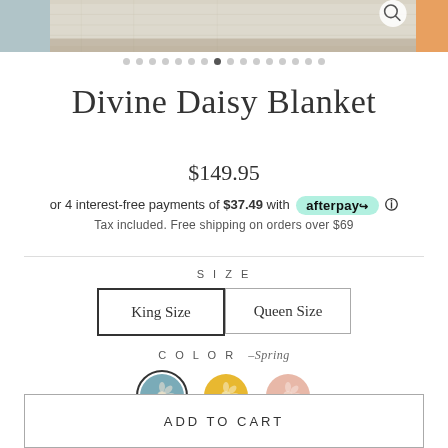[Figure (photo): Product image strip showing a blanket, with partial left and right images, and a magnify icon]
[Figure (other): Dot pagination indicator with the 8th dot highlighted]
Divine Daisy Blanket
$149.95
or 4 interest-free payments of $37.49 with afterpay
Tax included. Free shipping on orders over $69
SIZE
King Size
Queen Size
COLOR – Spring
[Figure (other): Three color swatches: teal/blue (selected), yellow/gold, pink/peach]
ADD TO CART